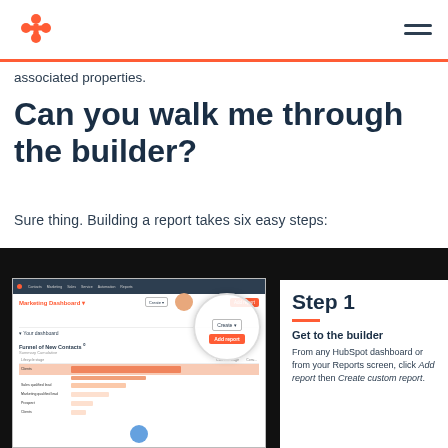HubSpot logo and navigation
associated properties.
Can you walk me through the builder?
Sure thing. Building a report takes six easy steps:
[Figure (screenshot): HubSpot Marketing Dashboard screenshot showing a report with bar charts, with a zoomed circle highlighting the Add report button]
Step 1
Get to the builder
From any HubSpot dashboard or from your Reports screen, click Add report then Create custom report.